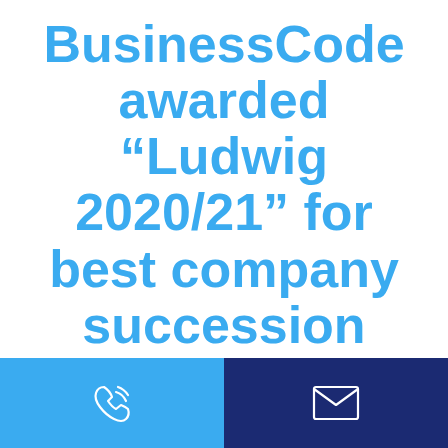BusinessCode awarded “Ludwig 2020/21” for best company succession
BusinessCode awarded "Ludwig 2020/21" for best company succession
[Figure (infographic): Footer bar split into two halves: left half light blue with a phone/call icon, right half dark navy blue with an envelope/email icon]